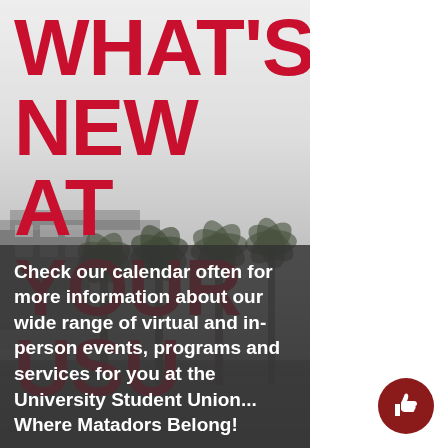[Figure (photo): Grayscale photo of a university building with palm trees in a foggy/overcast setting, with large red bold text overlay reading WHAT'S NEW AT YOUR USU]
WHAT'S NEW AT YOUR USU
Check our calendar often for more information about our wide range of virtual and in-person events, programs and services for you at the University Student Union... Where Matadors Belong!